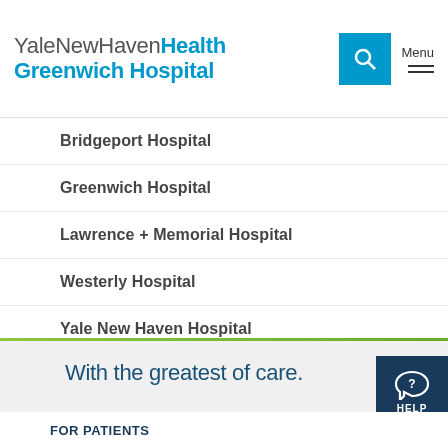YaleNewHavenHealth Greenwich Hospital
Bridgeport Hospital
Greenwich Hospital
Lawrence + Memorial Hospital
Westerly Hospital
Yale New Haven Hospital
Northeast Medical Group
With the greatest of care.
FOR PATIENTS